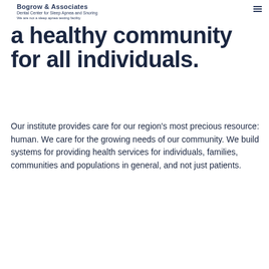Dental Center for Sleep Apnea and Snoring. We are not a sleep apnea testing facility
a healthy community for all individuals.
Our institute provides care for our region's most precious resource: human. We care for the growing needs of our community. We build systems for providing health services for individuals, families, communities and populations in general, and not just patients.